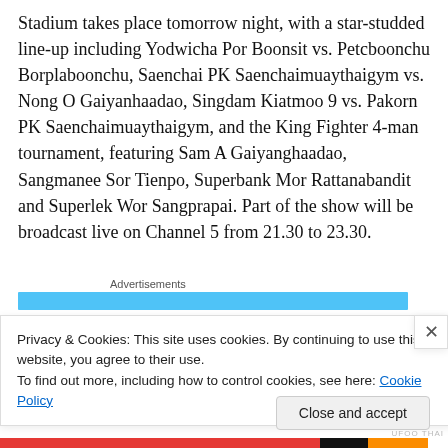Stadium takes place tomorrow night, with a star-studded line-up including Yodwicha Por Boonsit vs. Petcboonchu Borplaboonchu, Saenchai PK Saenchaimuaythaigym vs. Nong O Gaiyanhaadao, Singdam Kiatmoo 9 vs. Pakorn PK Saenchaimuaythaigym, and the King Fighter 4-man tournament, featuring Sam A Gaiyanghaadao, Sangmanee Sor Tienpo, Superbank Mor Rattanabandit and Superlek Wor Sangprapai. Part of the show will be broadcast live on Channel 5 from 21.30 to 23.30.
Advertisements
Privacy & Cookies: This site uses cookies. By continuing to use this website, you agree to their use.
To find out more, including how to control cookies, see here: Cookie Policy
Close and accept